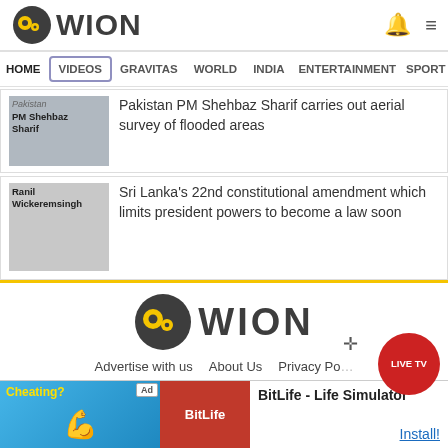WION
HOME | VIDEOS | GRAVITAS | WORLD | INDIA | ENTERTAINMENT | SPORTS
Pakistan PM Shehbaz Sharif carries out aerial survey of flooded areas
Sri Lanka's 22nd constitutional amendment which limits president powers to become a law soon
[Figure (logo): WION logo large in footer section]
Advertise with us   About Us   Privacy Po...
LIVE TV
BitLife - Life Simulator   Install!